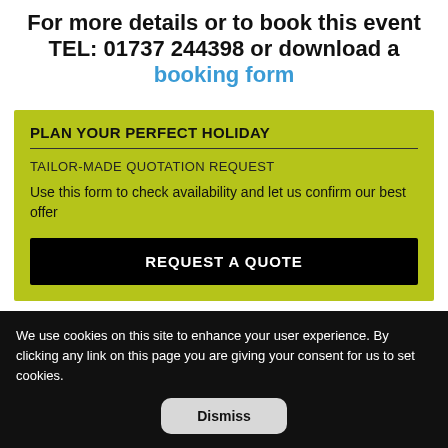For more details or to book this event TEL: 01737 244398 or download a booking form
PLAN YOUR PERFECT HOLIDAY
TAILOR-MADE QUOTATION REQUEST
Use this form to check availability and let us confirm our best offer
REQUEST A QUOTE
We use cookies on this site to enhance your user experience. By clicking any link on this page you are giving your consent for us to set cookies.
Dismiss